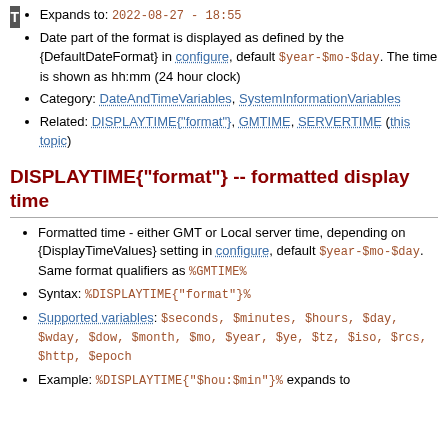Expands to: 2022-08-27 - 18:55
Date part of the format is displayed as defined by the {DefaultDateFormat} in configure, default $year-$mo-$day. The time is shown as hh:mm (24 hour clock)
Category: DateAndTimeVariables, SystemInformationVariables
Related: DISPLAYTIME{"format"}, GMTIME, SERVERTIME (this topic)
DISPLAYTIME{"format"} -- formatted display time
Formatted time - either GMT or Local server time, depending on {DisplayTimeValues} setting in configure, default $year-$mo-$day. Same format qualifiers as %GMTIME%
Syntax: %DISPLAYTIME{"format"}%
Supported variables: $seconds, $minutes, $hours, $day, $wday, $dow, $month, $mo, $year, $ye, $tz, $iso, $rcs, $http, $epoch
Example: %DISPLAYTIME{"$hou:$min"}% expands to